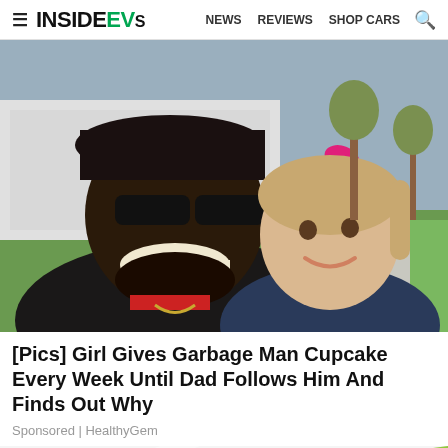InsideEVs — NEWS  REVIEWS  SHOP CARS
[Figure (photo): Photo of a smiling Black man wearing sunglasses and a dark baseball cap, posing cheek-to-cheek with a small smiling blonde girl wearing a pink bow in her hair. Background shows a white vehicle and green lawn.]
[Pics] Girl Gives Garbage Man Cupcake Every Week Until Dad Follows Him And Finds Out Why
Sponsored | HealthyGem
[Figure (photo): Partial bottom image showing a colorful diagonal stripe graphic in greens, yellows, and reds — appears to be the top of another advertisement card.]